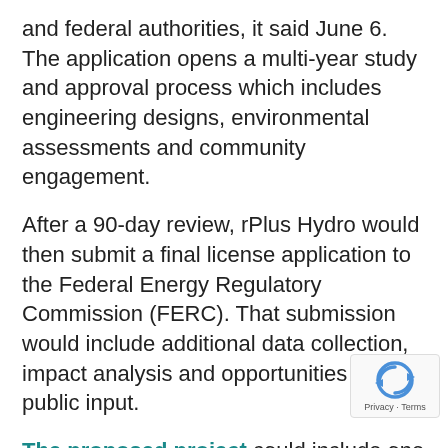and federal authorities, it said June 6. The application opens a multi-year study and approval process which includes engineering designs, environmental assessments and community engagement.
After a 90-day review, rPlus Hydro would then submit a final license application to the Federal Energy Regulatory Commission (FERC). That submission would include additional data collection, impact analysis and opportunities for public input.
The proposed project could include one new reservoir, underground tunnels and underground powerhouse, an intake-outlet structure in the Seminoe Reservoir, and a new transmission line. The reservoir will be located some 1,000 feet above the Seminoe Reservoir, and around two miles east of the Seminoe Dam.
Energy for pumping, and power generated by the